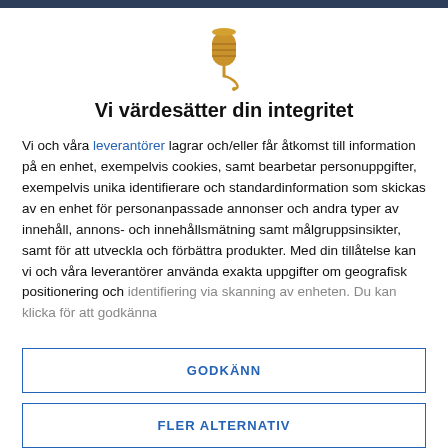[Figure (illustration): Golden microphone icon with a decorative cable curl at the bottom]
Vi värdesätter din integritet
Vi och våra leverantörer lagrar och/eller får åtkomst till information på en enhet, exempelvis cookies, samt bearbetar personuppgifter, exempelvis unika identifierare och standardinformation som skickas av en enhet för personanpassade annonser och andra typer av innehåll, annons- och innehållsmätning samt målgruppsinsikter, samt för att utveckla och förbättra produkter. Med din tillåtelse kan vi och våra leverantörer använda exakta uppgifter om geografisk positionering och identifiering via skanning av enheten. Du kan klicka för att godkänna
GODKÄNN
FLER ALTERNATIV